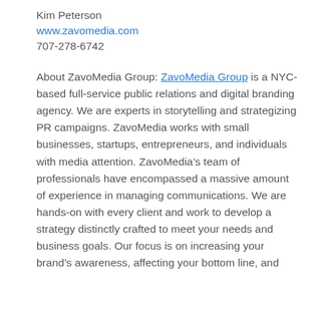Kim Peterson
www.zavomedia.com
707-278-6742
About ZavoMedia Group: ZavoMedia Group is a NYC-based full-service public relations and digital branding agency. We are experts in storytelling and strategizing PR campaigns. ZavoMedia works with small businesses, startups, entrepreneurs, and individuals with media attention. ZavoMedia’s team of professionals have encompassed a massive amount of experience in managing communications. We are hands-on with every client and work to develop a strategy distinctly crafted to meet your needs and business goals. Our focus is on increasing your brand’s awareness, affecting your bottom line, and